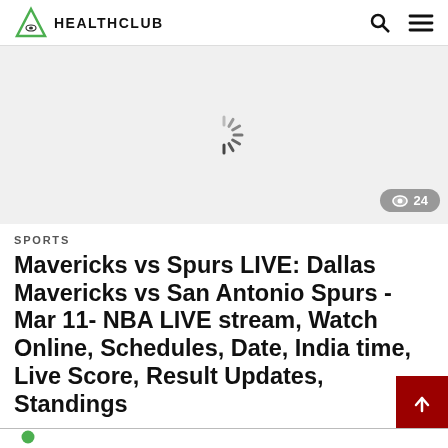HEALTHCLUB
[Figure (photo): Loading spinner on white/light gray background with a view count badge showing 24]
SPORTS
Mavericks vs Spurs LIVE: Dallas Mavericks vs San Antonio Spurs - Mar 11- NBA LIVE stream, Watch Online, Schedules, Date, India time, Live Score, Result Updates, Standings